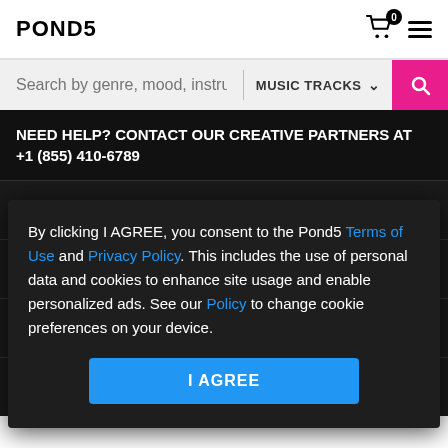POND5
Search by genre, mood, instru | MUSIC TRACKS
NEED HELP? CONTACT OUR CREATIVE PARTNERS AT +1 (855) 410-6789
COMPANY +
HELP +
MEDIA +
FEATURED COLLECTIONS +
By clicking I AGREE, you consent to the Pond5 Terms of Use and Privacy Policy. This includes the use of personal data and cookies to enhance site usage and enable personalized ads. See our Policy to change cookie preferences on your device.
I AGREE